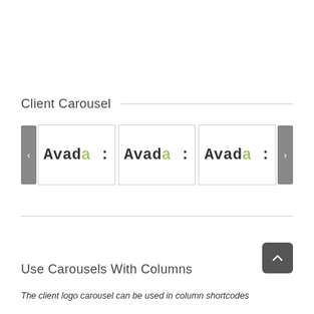Client Carousel
[Figure (screenshot): A client logo carousel showing three panels each containing 'Avada:' in monospace font with the letter 'a' in green, flanked by left and right navigation arrows.]
Use Carousels With Columns
The client logo carousel can be used in column shortcodes